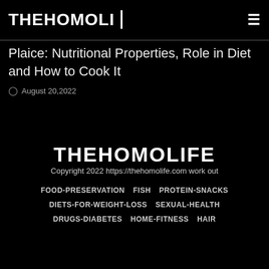THEHOMOLI
Plaice: Nutritional Properties, Role in Diet and How to Cook It
August 20,2022
[Figure (logo): THEHOMOLIFE logo in large bold white text on black background]
Copyright 2022 https://thehomolife.com work out
FOOD-PRESERVATION
FISH
PROTEIN-SNACKS
DIETS-FOR-WEIGHT-LOSS
SEXUAL-HEALTH
DRUGS-DIABETES
HOME-FITNESS
HAIR